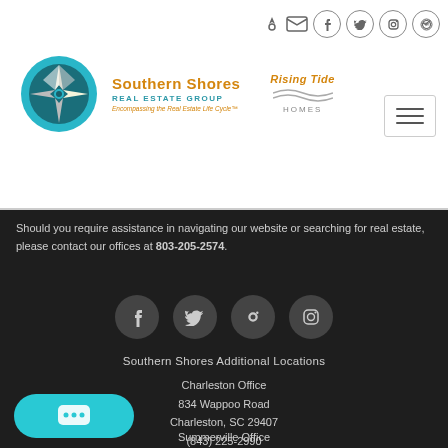[Figure (logo): Southern Shores Real Estate Group logo with compass rose and Rising Tide Homes logo]
Should you require assistance in navigating our website or searching for real estate, please contact our offices at 803-205-2574.
[Figure (infographic): Social media icon circles: Facebook, Twitter, Pinterest, Instagram]
Southern Shores Additional Locations
Charleston Office
834 Wappoo Road
Charleston, SC 29407
(843) 225-2990
Summerville Office
107 S. Main Street
Summerville, SC 29483